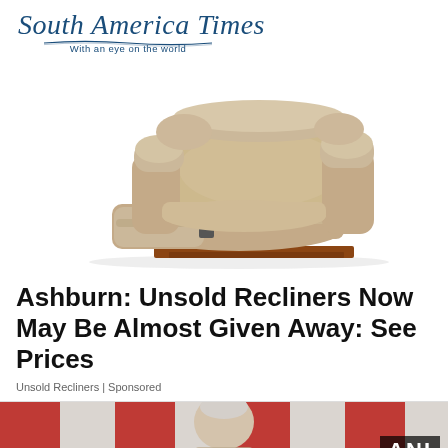[Figure (logo): South America Times logo with tagline 'With an eye on the world']
[Figure (photo): A beige/tan recliner chair in partially reclined position on white background]
Ashburn: Unsold Recliners Now May Be Almost Given Away: See Prices
Unsold Recliners | Sponsored
[Figure (photo): Partial photo of a person in front of red and white flags with ANI logo badge in lower right]